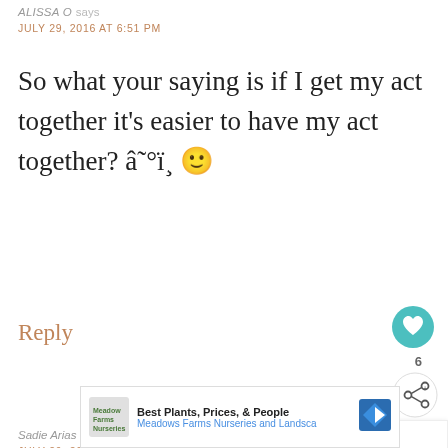ALISSA O says
JULY 29, 2016 AT 6:51 PM
So what your saying is if I get my act together it’s easier to have my act together? â˜°ï¿½ï¿½
Reply
Sadie Arias says
JULY 29, 2016 AT 3:08 PM
This is exactly what I need. My 2 1/2
[Figure (other): Advertisement banner: Best Plants, Prices, & People — Meadows Farms Nurseries and Landscape, with blue diamond arrow icon]